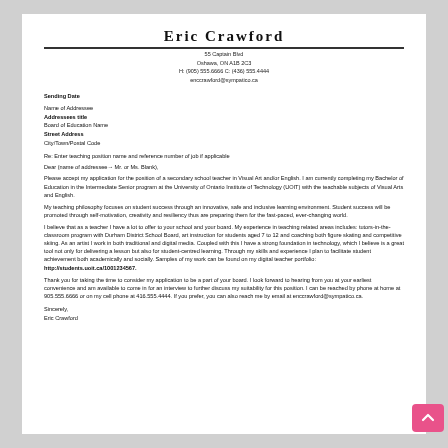Eric Crawford
55 Captain Blvd
Oshawa, ON A1B 2C3
H: (905) 555.6666  C: (436) 555.4444
enccrawford@sympatico.ca
Sending Date
Name of Addressee
Addressees title
Board of Education Name
Street Address
City/Town/Postal Code
Re: Enter teaching position name and reference number of job if applicable
Dear (name of addressee→ Mr. or Ms. Blank),
Please accept my application for the position of a secondary school teacher in Visual Art and/or English. I am currently completing my Bachelor of Education in the Intermediate Senior program at the University of Ontario Institute of Technology (UOIT) with the teachable subjects of Visual Arts and English.
My teaching philosophy focuses on student success through an innovative, safe and inclusive learning environment. Student success will be promoted through self-motivation, creativity and resiliency thus are preparing them for the fast-paced, ever-changing world.
I believe that as a teacher I have a lot to offer to your school and your board. My experience in teaching related areas includes: tutors-in-the-classroom program with Durham District School Board, art instruction for students aged 7 to 12 and coaching both figure skating and competitive skiing. As an artist I work in both traditional and digital media. Coupled with this I have a strong foundation in technology, which I believe is a great tool not only for delivering a lesson but also for student-centred learning. Through my skills and experience I plan to facilitate student achievement both academically and socially. Samples of my work can be found on my digital teacher portfolio: http://students.uoit.ca/1001234567.
Thank you for taking the time to consider my application to be a part of your board. I look forward to hearing from you at your earliest convenience and am available to come in for an interview to further discuss my suitability for this position. I can be reached by phone at home at 905.555.6666 or on my cell phone at 416.555.4444. If you prefer, you can also reach me by email at enccrawford@sympatico.ca.
Sincerely,
Eric Crawford